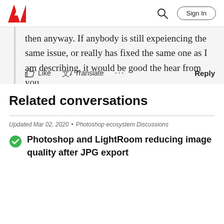Adobe — Sign In
then anyway. If anybody is still expeiencing the same issue, or really has fixed the same one as I am describing, it would be good the hear from you.
Like  Translate  ...  Reply
Related conversations
Updated Mar 02, 2020 • Photoshop ecosystem Discussions
Photoshop and LightRoom reducing image quality after JPG export